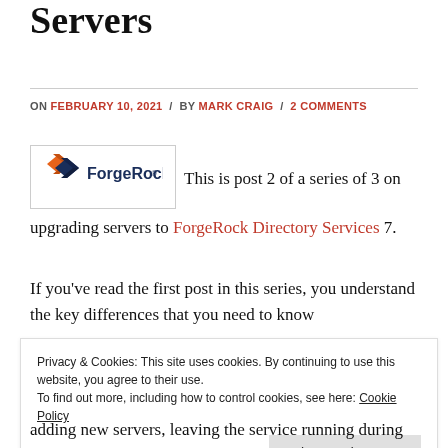Servers
ON FEBRUARY 10, 2021 / BY MARK CRAIG / 2 COMMENTS
[Figure (logo): ForgeRock logo — orange and dark-blue diamond/chevron shape with text 'ForgeRock']
This is post 2 of a series of 3 on upgrading servers to ForgeRock Directory Services 7.
If you've read the first post in this series, you understand the key differences that you need to know
Privacy & Cookies: This site uses cookies. By continuing to use this website, you agree to their use.
To find out more, including how to control cookies, see here: Cookie Policy
adding new servers, leaving the service running during